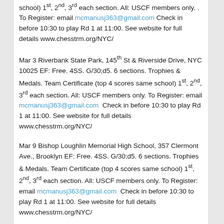school) 1st, 2nd, 3rd each section.  All: USCF members only. .  To Register: email mcmanusj363@gmail.com  Check in before 10:30 to play Rd 1 at 11:00.  See website for full details www.chesstrm.org/NYC/
Mar 3 Riverbank State Park, 145th St & Riverside Drive, NYC 10025  EF: Free. 4SS. G/30;d5. 6 sections. Trophies & Medals.  Team Certificate (top 4 scores same school) 1st, 2nd, 3rd each section.  All: USCF members only. To Register: email mcmanusj363@gmail.com  Check in before 10:30 to play Rd 1 at 11:00.  See website for full details www.chesstrm.org/NYC/
Mar 9 Bishop Loughlin Memorial High School, 357 Clermont Ave., Brooklyn EF: Free. 4SS. G/30;d5. 6 sections. Trophies & Medals.  Team Certificate (top 4 scores same school) 1st, 2nd, 3rd each section.  All: USCF members only. To Register: email mcmanusj363@gmail.com  Check in before 10:30 to play Rd 1 at 11:00.  See website for full details www.chesstrm.org/NYC/